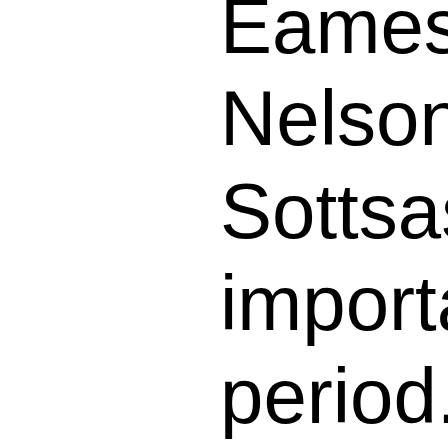Eames, Allen Jones, Nelson, Gaetano Pe... Sottsass among ma... important protagoni... period. The exhibitio... a wealth of graphic ... posters and magazi... sleeves, as well as ... photography and do... Registrieren...